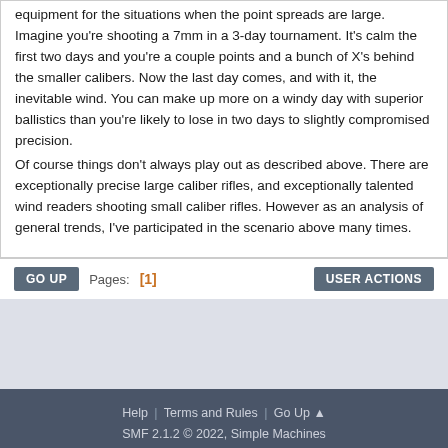equipment for the situations when the point spreads are large. Imagine you're shooting a 7mm in a 3-day tournament. It's calm the first two days and you're a couple points and a bunch of X's behind the smaller calibers. Now the last day comes, and with it, the inevitable wind. You can make up more on a windy day with superior ballistics than you're likely to lose in two days to slightly compromised precision. Of course things don't always play out as described above. There are exceptionally precise large caliber rifles, and exceptionally talented wind readers shooting small caliber rifles. However as an analysis of general trends, I've participated in the scenario above many times.
GO UP | Pages: [1] | USER ACTIONS
Help | Terms and Rules | Go Up ▲
SMF 2.1.2 © 2022, Simple Machines